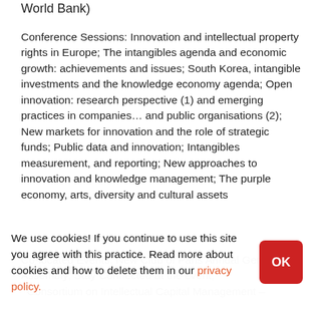World Bank)
Conference Sessions: Innovation and intellectual property rights in Europe; The intangibles agenda and economic growth: achievements and issues; South Korea, intangible investments and the knowledge economy agenda; Open innovation: research perspective (1) and emerging practices in companies… and public organisations (2); New markets for innovation and the role of strategic funds; Public data and innovation; Intangibles measurement, and reporting; New approaches to innovation and knowledge management; The purple economy, arts, diversity and cultural assets
Co-located Events: New Club of Paris Annual General Assembly; Stay Connected at the event; Consortium on Intellectual Capital Management –
We use cookies! If you continue to use this site you agree with this practice. Read more about cookies and how to delete them in our privacy policy.